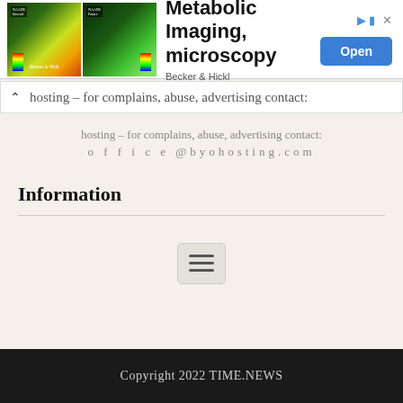[Figure (screenshot): Advertisement banner for Metabolic Imaging microscopy by Becker & Hickl, featuring two microscopy images with color gradient overlays, an Open button, and close/arrow icons.]
hosting – for complains, abuse, advertising contact:
o f f i c e @byohosting.com
Information
[Figure (other): Hamburger menu icon button with three horizontal lines]
Copyright 2022 TIME.NEWS